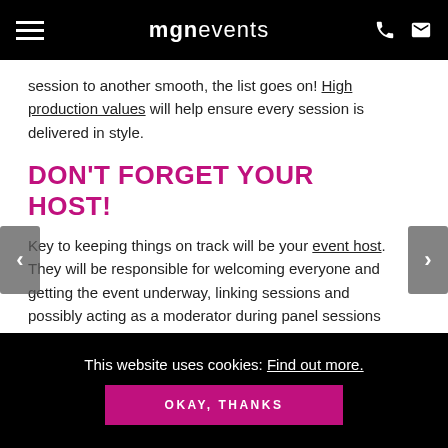mgnevents
session to another smooth, the list goes on! High production values will help ensure every session is delivered in style.
DON'T FORGET YOUR HOST!
Key to keeping things on track will be your event host. They will be responsible for welcoming everyone and getting the event underway, linking sessions and possibly acting as a moderator during panel sessions etc. Your host will also fulfil the essential role of explaining the ways in which the audience can become
This website uses cookies: Find out more. OKAY, THANKS